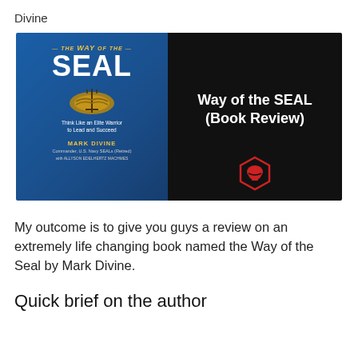Divine
[Figure (photo): Book cover image of 'The Way of the SEAL' by Mark Divine, split into two panels: left panel shows the blue book cover with title, Navy SEAL trident emblem, tagline 'Think Like an Elite Warrior to Lead and Succeed', and author name; right panel is black with white bold text 'Way of the SEAL (Book Review)' and a red helmet icon.]
My outcome is to give you guys a review on an extremely life changing book named the Way of the Seal by Mark Divine.
Quick brief on the author